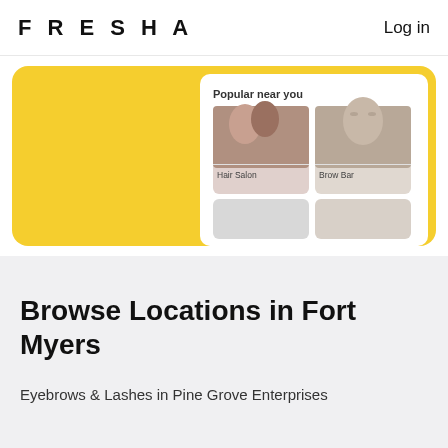FRESHA
Log in
[Figure (screenshot): Fresha app screenshot showing 'Popular near you' section with yellow card background, Hair Salon and Brow Bar service cards with photos]
Browse Locations in Fort Myers
Eyebrows & Lashes in Pine Grove Enterprises